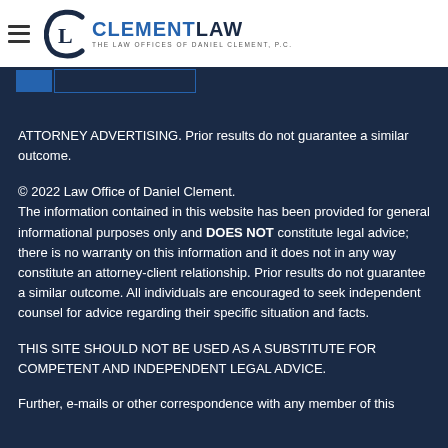[Figure (logo): Clement Law logo with hamburger menu icon, 'CL' monogram in blue, and text 'CLEMENTLAW / THE LAW OFFICES OF DANIEL CLEMENT, P.C.']
ATTORNEY ADVERTISING. Prior results do not guarantee a similar outcome.
© 2022 Law Office of Daniel Clement. The information contained in this website has been provided for general informational purposes only and DOES NOT constitute legal advice; there is no warranty on this information and it does not in any way constitute an attorney-client relationship. Prior results do not guarantee a similar outcome. All individuals are encouraged to seek independent counsel for advice regarding their specific situation and facts.
THIS SITE SHOULD NOT BE USED AS A SUBSTITUTE FOR COMPETENT AND INDEPENDENT LEGAL ADVICE.
Further, e-mails or other correspondence with any member of this